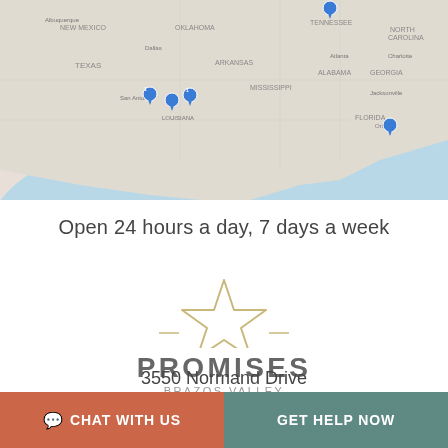[Figure (map): Map of the southeastern United States showing location pins near Houston/Austin TX area and Orlando FL area, with blue water along Gulf Coast and Atlantic coast.]
Open 24 hours a day, 7 days a week
[Figure (logo): Promises Brazos Valley logo: a gold star outline above the text PROMISES in bold gray capitals, with BRAZOS VALLEY in smaller spaced gray capitals below.]
3550 Normand Drive
College Station, TX 77845
CHAT WITH US   GET HELP NOW